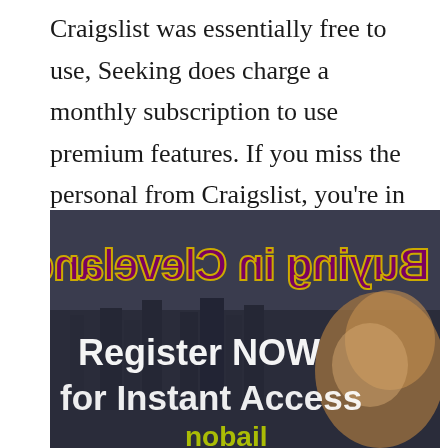Craigslist was essentially free to use, Seeking does charge a monthly subscription to use premium features. If you miss the personal from Craigslist, you're in luck.
[Figure (screenshot): Advertisement image with dark city skyline background and a woman's face visible on the right. Flipped/mirrored text 'Buying in Cleveland' in gold-outlined dark magenta/purple at the top, and white bold text 'Register NOW for Instant Access' in the lower half. Bottom shows partial yellow/green logo text.]